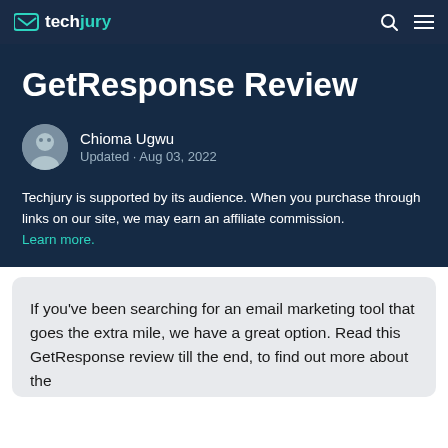techjury
GetResponse Review
Chioma Ugwu
Updated · Aug 03, 2022
Techjury is supported by its audience. When you purchase through links on our site, we may earn an affiliate commission. Learn more.
If you've been searching for an email marketing tool that goes the extra mile, we have a great option. Read this GetResponse review till the end, to find out more about the